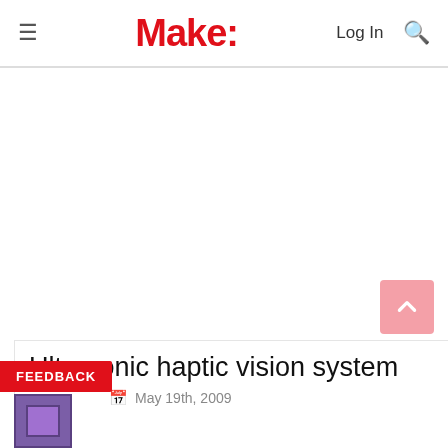Make: — Log In [search]
Ultrasonic haptic vision system
May 19th, 2009
FEEDBACK